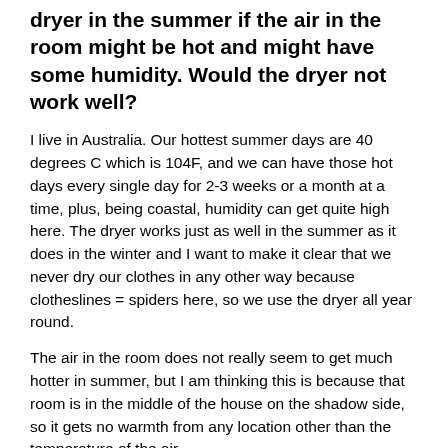dryer in the summer if the air in the room might be hot and might have some humidity. Would the dryer not work well?
I live in Australia. Our hottest summer days are 40 degrees C which is 104F, and we can have those hot days every single day for 2-3 weeks or a month at a time, plus, being coastal, humidity can get quite high here. The dryer works just as well in the summer as it does in the winter and I want to make it clear that we never dry our clothes in any other way because clotheslines = spiders here, so we use the dryer all year round.
The air in the room does not really seem to get much hotter in summer, but I am thinking this is because that room is in the middle of the house on the shadow side, so it gets no warmth from any location other than the temperature of the air.
These dryers were originally invented for the European markets where all the appliances live in the kitchen, plus there you generally don't mind a little heat added to the room, especially in winter, but even in summer it does not get hot there like it gets here.
All condenser dryers work on the same concept, not all